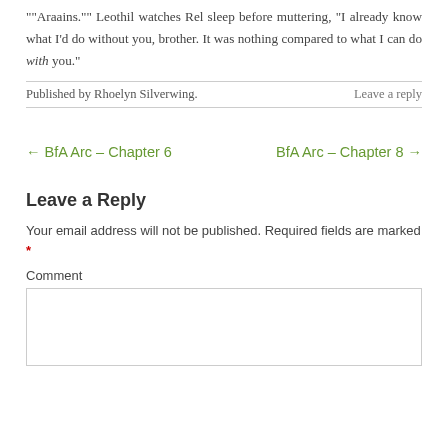""Araains."" Leothil watches Rel sleep before muttering, "I already know what I'd do without you, brother. It was nothing compared to what I can do with you."
Published by Rhoelyn Silverwing.
Leave a reply
← BfA Arc – Chapter 6
BfA Arc – Chapter 8 →
Leave a Reply
Your email address will not be published. Required fields are marked *
Comment